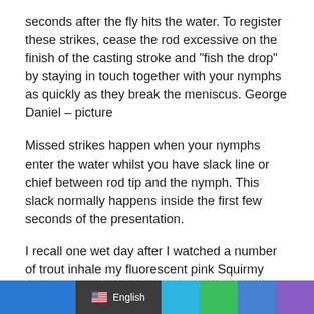seconds after the fly hits the water. To register these strikes, cease the rod excessive on the finish of the casting stroke and "fish the drop" by staying in touch together with your nymphs as quickly as they break the meniscus. George Daniel – picture
Missed strikes happen when your nymphs enter the water whilst you have slack line or chief between rod tip and the nymph. This slack normally happens inside the first few seconds of the presentation.
I recall one wet day after I watched a number of trout inhale my fluorescent pink Squirmy Wormy with out the sighter indicating any strike. They had been leaping on the worm the second it hit the water, however as a result of there was extreme slack within the chief, the sighter didn't transfer. The